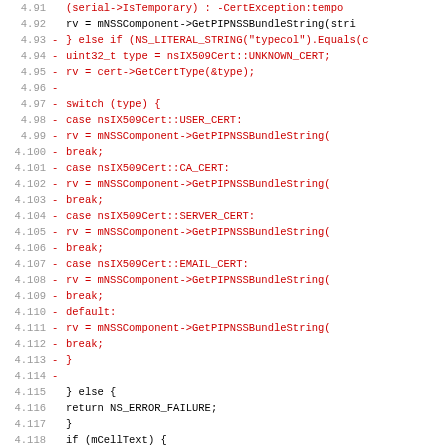Code diff showing lines 4.91–5.1 of a source file with deleted lines (red) and context lines (black), featuring C++ code related to NSS certificate type handling.